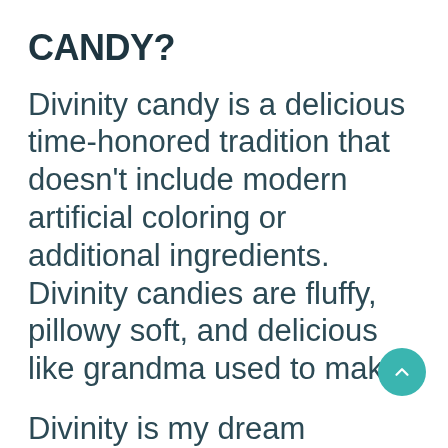CANDY?
Divinity candy is a delicious time-honored tradition that doesn't include modern artificial coloring or additional ingredients. Divinity candies are fluffy, pillowy soft, and delicious like grandma used to make!
Divinity is my dream Christmas candy, I couldn't celebrate without it. My Grandma, Jessica was a